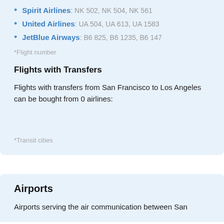Spirit Airlines: NK 502, NK 504, NK 561
United Airlines: UA 504, UA 613, UA 1583
JetBlue Airways: B6 825, B6 1235, B6 147
*Flight number
Flights with Transfers
Flights with transfers from San Francisco to Los Angeles can be bought from 0 airlines:
*Transit cities
Airports
Airports serving the air communication between San